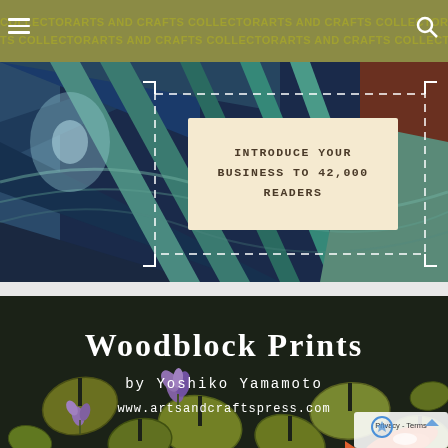COLLECTORARTS AND CRAFTS COLLECTORARTS AND CRAFTS (repeating)
[Figure (infographic): Abstract arts and crafts banner image with geometric/stained-glass style blue and teal pattern, containing a beige box with text: INTRODUCE YOUR BUSINESS TO 42,000 READERS]
INTRODUCE YOUR BUSINESS TO 42,000 READERS
[Figure (illustration): Woodblock print style illustration of lily pad pond with koi fish, featuring text: Woodblock Prints by Yoshiko Yamamoto www.artsandcraftspress.com]